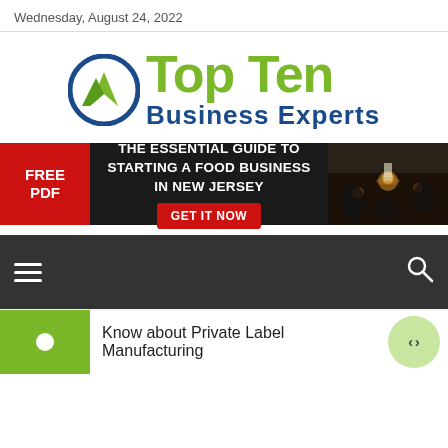Wednesday, August 24, 2022
[Figure (logo): Top Ten Business Experts logo with green and blue icon and green/blue text]
[Figure (infographic): Banner ad: FREE PDF – THE ESSENTIAL GUIDE TO STARTING A FOOD BUSINESS IN NEW JERSEY – GET IT NOW button, with restaurant background image]
[Figure (screenshot): Dark navigation bar with hamburger menu icon on left and search icon on right]
Know about Private Label Manufacturing